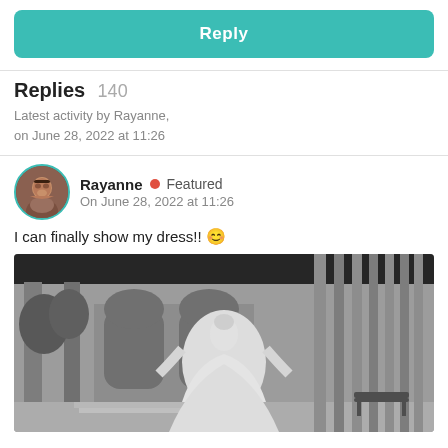Reply
Replies 140
Latest activity by Rayanne, on June 28, 2022 at 11:26
Rayanne • Featured On June 28, 2022 at 11:26
I can finally show my dress!! 😊
[Figure (photo): Black and white photo of a bride in a large white wedding dress standing in an elegant outdoor venue with arched windows, columns, and park benches, viewed from behind.]